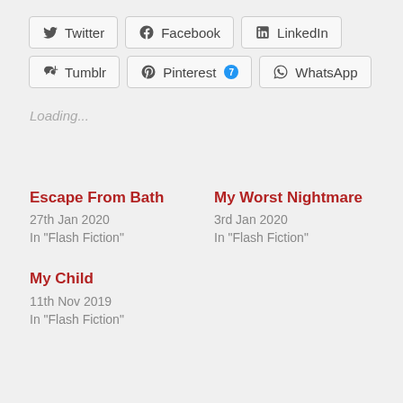[Figure (infographic): Social share buttons row: Twitter, Facebook, LinkedIn, Tumblr, Pinterest (with badge '7'), WhatsApp]
Loading...
Escape From Bath
27th Jan 2020
In "Flash Fiction"
My Worst Nightmare
3rd Jan 2020
In "Flash Fiction"
My Child
11th Nov 2019
In "Flash Fiction"